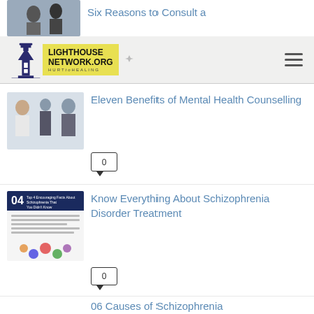[Figure (screenshot): Thumbnail image of two people in consultation]
Six Reasons to Consult a
[Figure (logo): Lighthouse Network.org Hurt to Healing logo with lighthouse icon and yellow text block]
[Figure (photo): Photo of mental health counselling session with three people]
Eleven Benefits of Mental Health Counselling
0
[Figure (infographic): Schizophrenia facts infographic thumbnail with blue header and diagram]
Know Everything About Schizophrenia Disorder Treatment
0
06 Causes of Schizophrenia